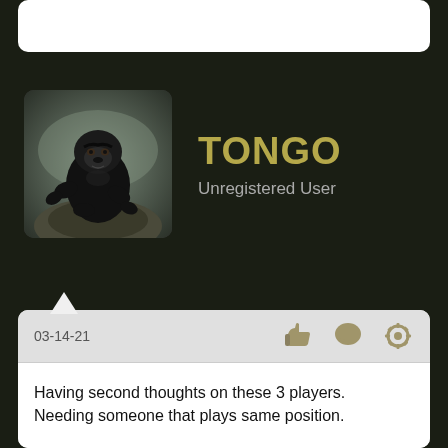...
[Figure (photo): Avatar image of a gorilla (King Kong) in a dark misty environment, shown in a rounded square frame]
TONGO
Unregistered User
03-14-21
Having second thoughts on these 3 players.
Needing someone that plays same position.
Walker Buehler SP
Nolan Arenado 3B
Eloy Jimenez OF